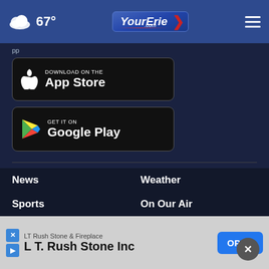67° YourErie.com
[Figure (screenshot): App Store download button — black rounded rectangle with Apple logo and 'Download on the App Store' text]
[Figure (screenshot): Google Play download button — black rounded rectangle with Google Play triangle logo and 'GET IT ON Google Play' text]
News
Weather
Sports
On Our Air
Community
Contests
TV Schedule
Contact Us
[Figure (screenshot): Advertisement banner for LT Rush Stone & Fireplace / L T. Rush Stone Inc with OPEN button]